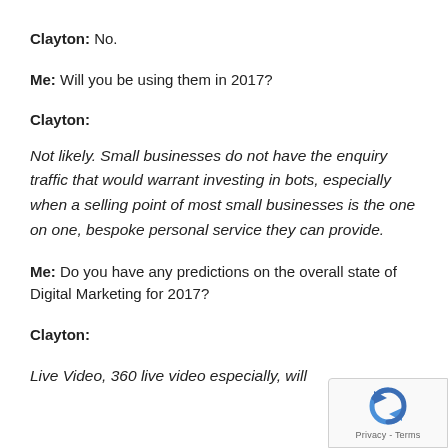Clayton: No.
Me: Will you be using them in 2017?
Clayton:
Not likely. Small businesses do not have the enquiry traffic that would warrant investing in bots, especially when a selling point of most small businesses is the one on one, bespoke personal service they can provide.
Me: Do you have any predictions on the overall state of Digital Marketing for 2017?
Clayton:
Live Video, 360 live video especially, will